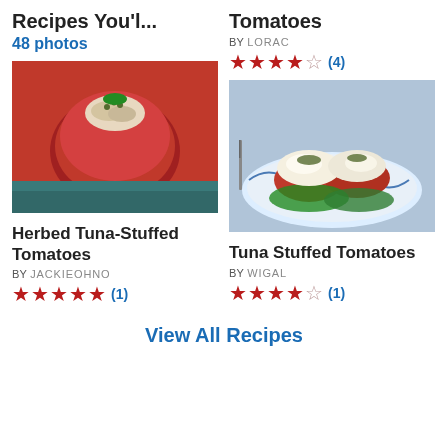Recipes You'l...
48 photos
Tomatoes
BY LORAC
★★★★☆ (4)
[Figure (photo): A red stuffed tomato filled with herbed tuna salad topped with capers and parsley, served on a plate with parsley garnish]
[Figure (photo): Two baked tuna stuffed tomatoes topped with melted cheese and herbs, served on a blue and white plate with greens]
Herbed Tuna-Stuffed Tomatoes
BY JACKIEOHNO
★★★★★ (1)
Tuna Stuffed Tomatoes
BY WIGAL
★★★★☆ (1)
View All Recipes